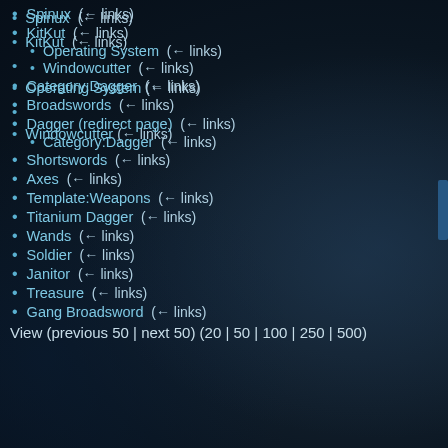Spinux  (← links)
KitKut  (← links)
Operating System  (← links)
Windowcutter  (← links)
Category:Dagger  (← links)
Broadswords  (← links)
Dagger (redirect page)  (← links)
Category:Dagger  (← links)
Shortswords  (← links)
Axes  (← links)
Template:Weapons  (← links)
Titanium Dagger  (← links)
Wands  (← links)
Soldier  (← links)
Janitor  (← links)
Treasure  (← links)
Gang Broadsword  (← links)
View (previous 50 | next 50) (20 | 50 | 100 | 250 | 500)